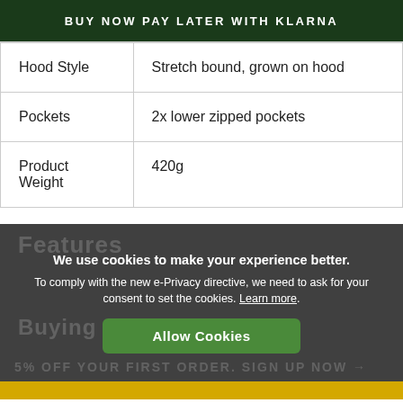BUY NOW PAY LATER WITH KLARNA
| Hood Style | Stretch bound, grown on hood |
| Pockets | 2x lower zipped pockets |
| Product Weight | 420g |
Features
We use cookies to make your experience better. To comply with the new e-Privacy directive, we need to ask for your consent to set the cookies. Learn more.
Allow Cookies
Buying Guides
5% OFF YOUR FIRST ORDER. SIGN UP NOW →